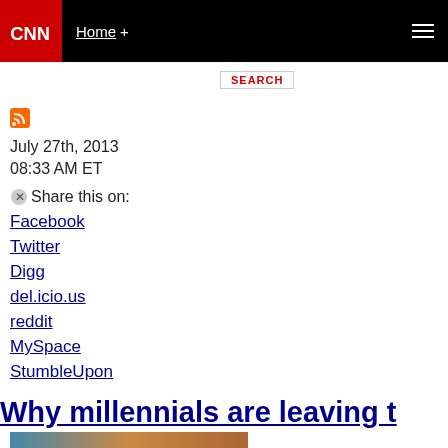CNN — Home +
[Figure (logo): CNN logo — white CNN text on red background square]
SEARCH
July 27th, 2013
08:33 AM ET
Share this on:
Facebook
Twitter
Digg
del.icio.us
reddit
MySpace
StumbleUpon
Why millennials are leaving t
[Figure (photo): Partial photo at bottom of page]